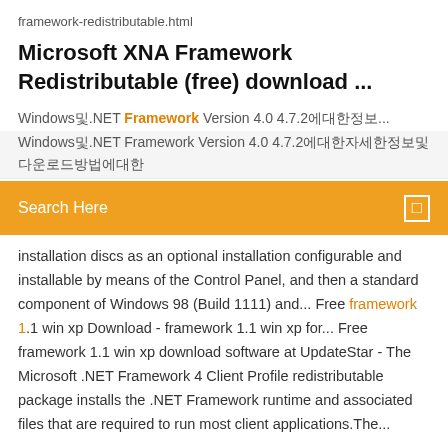framework-redistributable.html
Microsoft XNA Framework Redistributable (free) download ...
Windows및.NET Framework Version 4.0 4.7.2에대한정보...
Windows및.NET Framework Version 4.0 4.7.2에대한자세한정보및다운로드방법에대한
[Figure (screenshot): Orange search bar with 'Search Here' label and a small icon on the right]
installation discs as an optional installation configurable and installable by means of the Control Panel, and then a standard component of Windows 98 (Build 1111) and... Free framework 1.1 win xp Download - framework 1.1 win xp for... Free framework 1.1 win xp download software at UpdateStar - The Microsoft .NET Framework 4 Client Profile redistributable package installs the .NET Framework runtime and associated files that are required to run most client applications.The...
Should I remove Microsoft XNA Framework Redistributable 3